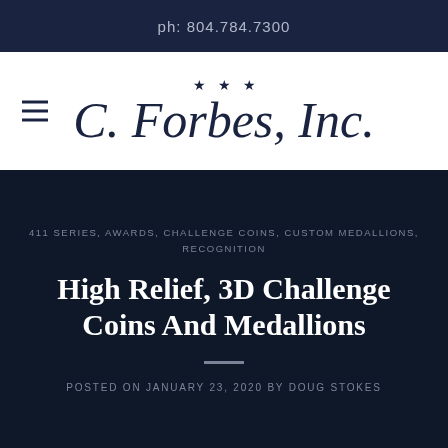ph: 804.784.7300
[Figure (logo): C. Forbes, Inc. logo with three stars above cursive script text]
411 SERIES, AWARDS, CHALLENGE COINS, CUSTOM MEDALLIONS, RECOGNITION
High Relief, 3D Challenge Coins And Medallions
POSTED ON JANUARY 23, 2020 BY DOUG STOKES